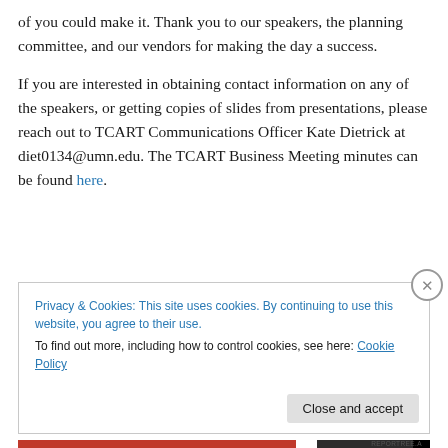of you could make it. Thank you to our speakers, the planning committee, and our vendors for making the day a success.
If you are interested in obtaining contact information on any of the speakers, or getting copies of slides from presentations, please reach out to TCART Communications Officer Kate Dietrick at diet0134@umn.edu. The TCART Business Meeting minutes can be found here.
Privacy & Cookies: This site uses cookies. By continuing to use this website, you agree to their use.
To find out more, including how to control cookies, see here: Cookie Policy